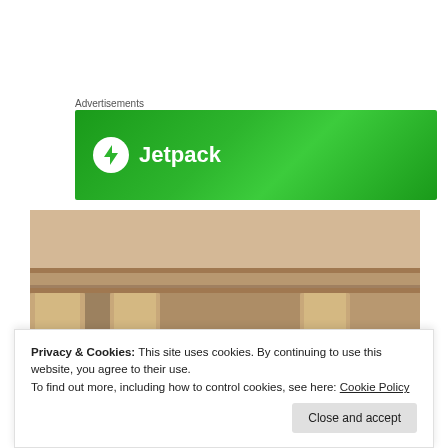Advertisements
[Figure (logo): Jetpack advertisement banner with green background, Jetpack logo (white circle with lightning bolt) and 'Jetpack' text in white]
[Figure (photo): Book cover showing classical Roman/Greek columns and architecture in sepia tone, with white lowercase text 'the' and red vertical text 'SCRIBE' on the right side, and red stylized text at the bottom]
Privacy & Cookies: This site uses cookies. By continuing to use this website, you agree to their use.
To find out more, including how to control cookies, see here: Cookie Policy
Close and accept